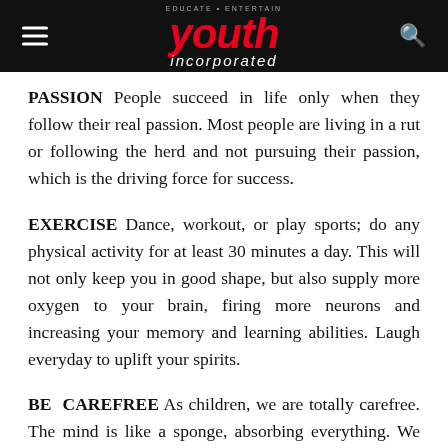Youth Incorporated — EDUCATE • ENTERTAIN
PASSION People succeed in life only when they follow their real passion. Most people are living in a rut or following the herd and not pursuing their passion, which is the driving force for success.
EXERCISE Dance, workout, or play sports; do any physical activity for at least 30 minutes a day. This will not only keep you in good shape, but also supply more oxygen to your brain, firing more neurons and increasing your memory and learning abilities. Laugh everyday to uplift your spirits.
BE CAREFREE As children, we are totally carefree. The mind is like a sponge, absorbing everything. We are shaped by our experiences in school and college, which is frequently